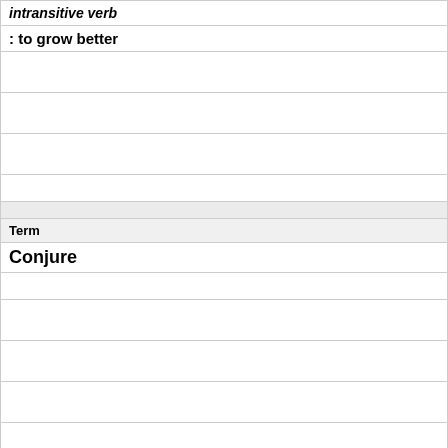| intransitive verb |
| : to grow better |
|  |
|  |
|  |
|  |
| Term |
| Conjure |
|  |
|  |
|  |
|  |
|  |
|  |
| Definition |
| transitive verb 1 : to charge or entreat earnestly or solemnly 2 a : to summon by or as if by invocation or incantation b (1) |